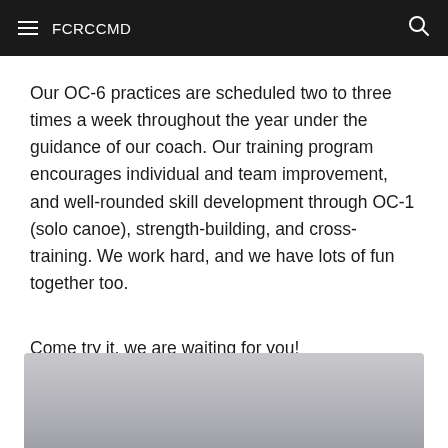FCRCCMD
Our OC-6 practices are scheduled two to three times a week throughout the year under the guidance of our coach. Our training program encourages individual and team improvement, and well-rounded skill development through OC-1 (solo canoe), strength-building, and cross-training. We work hard, and we have lots of fun together too.
Come try it, we are waiting for you!
[Figure (photo): Partially visible grey/silver photo at the bottom of the page]